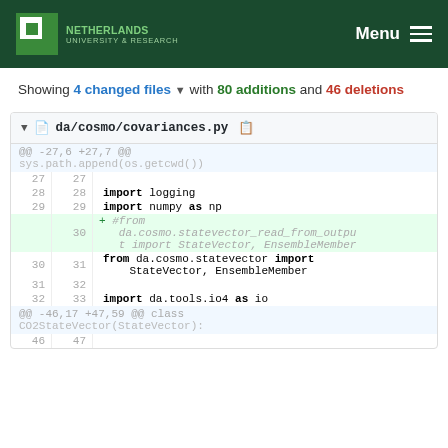Menu
Showing 4 changed files with 80 additions and 46 deletions
[Figure (screenshot): Git diff view of da/cosmo/covariances.py showing added commented-out import line and context lines around it]
da/cosmo/covariances.py diff view